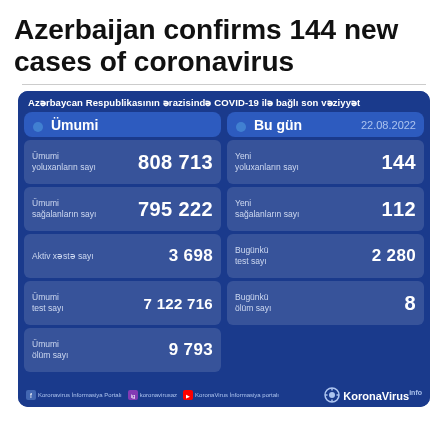Azerbaijan confirms 144 new cases of coronavirus
[Figure (infographic): COVID-19 statistics infographic for Azerbaijan Republic dated 22.08.2022. Left panel (Ümumi/Overall): Ümumi yoluxanların sayı 808 713, Ümumi sağalanların sayı 795 222, Aktiv xəstə sayı 3 698, Ümumi test sayı 7 122 716, Ümumi ölüm sayı 9 793. Right panel (Bu gün/Today): Yeni yoluxanların sayı 144, Yeni sağalanların sayı 112, Bugünkü test sayı 2 280, Bugünkü ölüm sayı 8. Footer: KoronaVirus.info branding.]